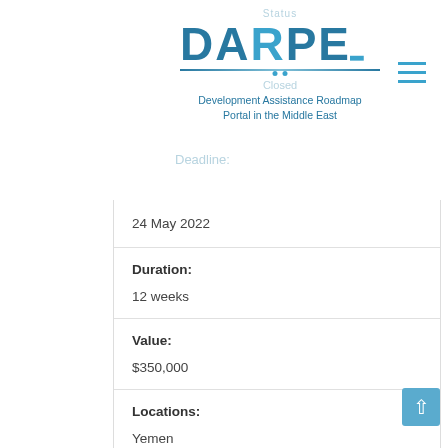[Figure (logo): DARPE logo - Development Assistance Roadmap Portal in the Middle East]
Status
Closed
Deadline:
24 May 2022
Duration:
12 weeks
Value:
$350,000
Locations:
Yemen
Sectors:
Environment and Energy